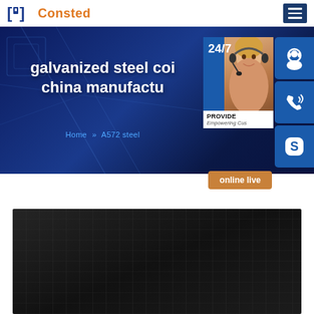Consted (logo with hamburger menu)
galvanized steel coil china manufacturer
Home » A572 steel
[Figure (screenshot): Website screenshot showing Consted company page with hero banner, 24/7 support panel with customer service representative photo, icon buttons for support/call/skype, online live button, and bottom product dark image]
24/7
PROVIDE Empowering Customers
online live